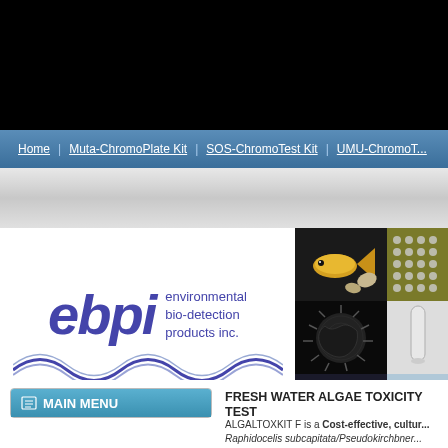Home | Muta-ChromoPlate Kit | SOS-ChromoTest Kit | UMU-ChromoT...
[Figure (logo): EBPI - environmental bio-detection products inc. logo with wave graphic]
[Figure (photo): Grid of 6 photos: goldfish, microplate wells, sea urchin, test tube, lab kit supplies, mushroom/fungus specimen]
MAIN MENU
FRESH WATER ALGAE TOXICITY TEST
ALGALTOXKIT F is a Cost-effective, cultur... Raphidocelis subcapitata/Pseudokirchner...